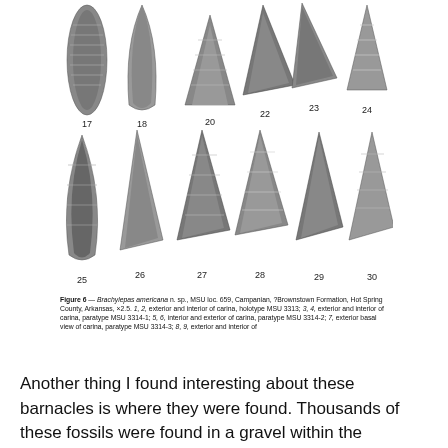[Figure (photo): Black and white photographs of fossil barnacle specimens (Brachylepas americana n. sp.) numbered 17, 18, 20, 22, 23, 24 in top row and 25, 26, 27, 28, 29, 30 in bottom row, showing exterior and interior views of carina.]
Figure 6 — Brachylepas americana n. sp., MSU loc. 659, Campanian, ?Brownstown Formation, Hot Spring County, Arkansas, ×2.5. 1, 2, exterior and interior of carina, holotype MSU 3313; 3, 4, exterior and interior of carina, paratype MSU 3314-1; 5, 6, interior and exterior of carina, paratype MSU 3314-2; 7, exterior basal view of carina, paratype MSU 3314-3; 8, 9, exterior and interior of
Another thing I found interesting about these barnacles is where they were found. Thousands of these fossils were found in a gravel within the Brownstone Formation, dated to the Late Cretaceous, and deposited in a littoral environment. This is a high energy, near shore environment. The living representatives of this group, though, are only found near hydrothermal vents